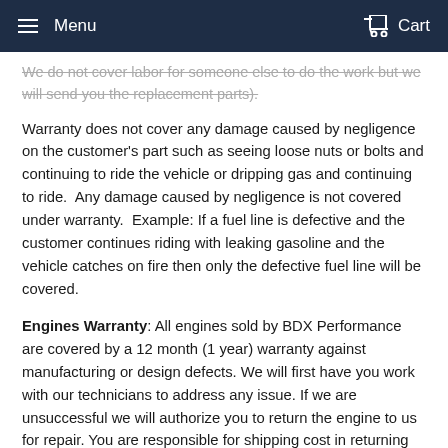Menu  Cart
We do not cover labor for someone else to do the work but we will send you the replacement parts).
Warranty does not cover any damage caused by negligence on the customer's part such as seeing loose nuts or bolts and continuing to ride the vehicle or dripping gas and continuing to ride.  Any damage caused by negligence is not covered under warranty.  Example: If a fuel line is defective and the customer continues riding with leaking gasoline and the vehicle catches on fire then only the defective fuel line will be covered.
Engines Warranty: All engines sold by BDX Performance are covered by a 12 month (1 year) warranty against manufacturing or design defects. We will first have you work with our technicians to address any issue. If we are unsuccessful we will authorize you to return the engine to us for repair. You are responsible for shipping cost in returning the engine for warranty.  Please follow the shipping instructions to avoid damage and to get discounted shipping